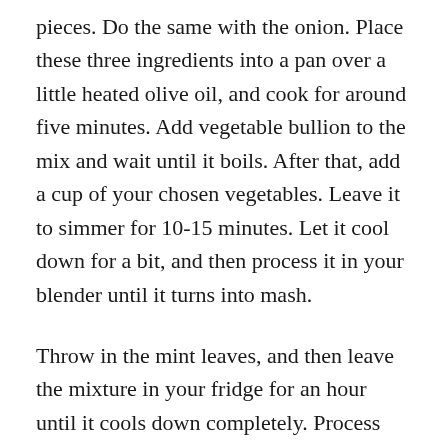pieces. Do the same with the onion. Place these three ingredients into a pan over a little heated olive oil, and cook for around five minutes. Add vegetable bullion to the mix and wait until it boils. After that, add a cup of your chosen vegetables. Leave it to simmer for 10-15 minutes. Let it cool down for a bit, and then process it in your blender until it turns into mash.
Throw in the mint leaves, and then leave the mixture in your fridge for an hour until it cools down completely. Process the yogurt and cottage cheese together in a blender, and add garlic to your liking. Serve chilled soup in plates or small bowls, with cheese and yogurt dressing poured on top and